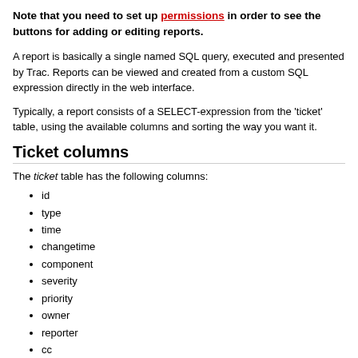Note that you need to set up permissions in order to see the buttons for adding or editing reports.
A report is basically a single named SQL query, executed and presented by Trac. Reports can be viewed and created from a custom SQL expression directly in the web interface.
Typically, a report consists of a SELECT-expression from the 'ticket' table, using the available columns and sorting the way you want it.
Ticket columns
The ticket table has the following columns:
id
type
time
changetime
component
severity
priority
owner
reporter
cc
version
milestone
status
resolution